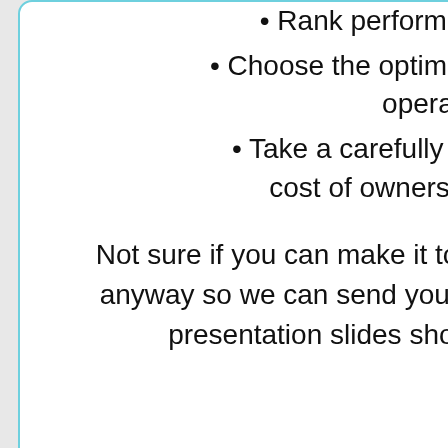Rank performance priorities
Choose the optimal air filter for your operation
Take a carefully considered total cost of ownership approach
Not sure if you can make it to the live session? Register anyway so we can send you the webinar recording and presentation slides shortly after the session.
[Figure (infographic): Social sharing icons column: LinkedIn, Twitter, Facebook, Google, Email, Plus button]